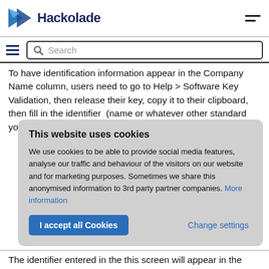[Figure (logo): Hackolade logo with blue arrow icon and text 'Hackolade']
To have identification information appear in the Company Name column, users need to go to Help > Software Key Validation, then release their key, copy it to their clipboard, then fill in the identifier (name or whatever other standard you decide), paste the key, and validate a...
This website uses cookies

We use cookies to be able to provide social media features, analyse our traffic and behaviour of the visitors on our website and for marketing purposes. Sometimes we share this anonymised information to 3rd party partner companies. More information

I accept all Cookies    Change settings
The identifier entered in the this screen will appear in the